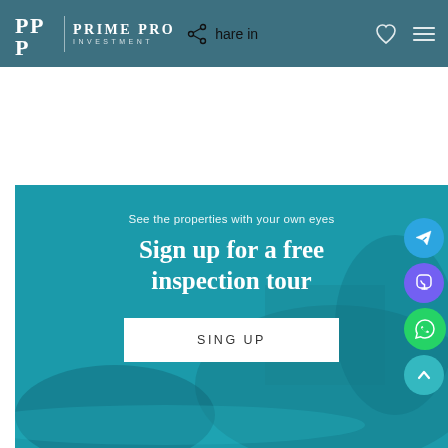[Figure (logo): Prime Pro Investment logo with PP monogram on teal header background]
Share in
[Figure (screenshot): White space area below the header navigation]
See the properties with your own eyes
Sign up for a free inspection tour
SING UP